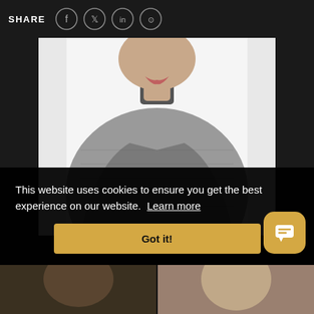SHARE
[Figure (photo): 3D rendered illustration of a female humanoid figure wearing a grey textured bodysuit and collar, shown from mid-torso up against a white background]
This website uses cookies to ensure you get the best experience on our website. Learn more
Got it!